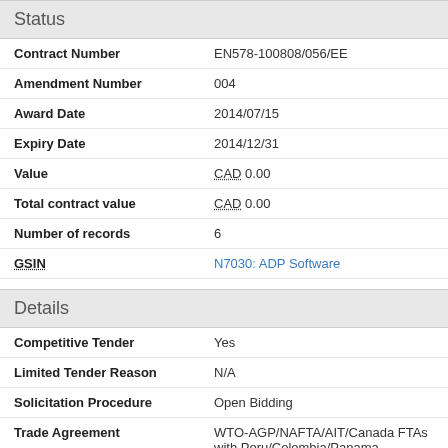Status
| Field | Value |
| --- | --- |
| Contract Number | EN578-100808/056/EE |
| Amendment Number | 004 |
| Award Date | 2014/07/15 |
| Expiry Date | 2014/12/31 |
| Value | CAD 0.00 |
| Total contract value | CAD 0.00 |
| Number of records | 6 |
| GSIN | N7030: ADP Software |
Details
| Field | Value |
| --- | --- |
| Competitive Tender | Yes |
| Limited Tender Reason | N/A |
| Solicitation Procedure | Open Bidding |
| Trade Agreement | WTO-AGP/NAFTA/AIT/Canada FTAs with Peru/Colombia/Panama |